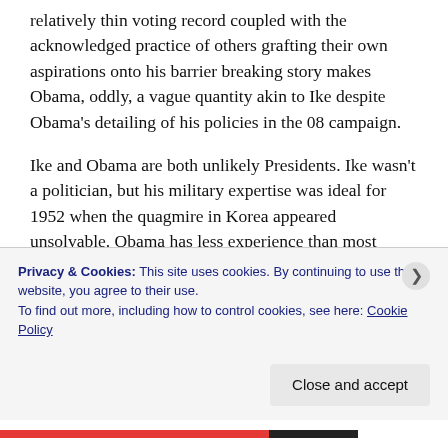relatively thin voting record coupled with the acknowledged practice of others grafting their own aspirations onto his barrier breaking story makes Obama, oddly, a vague quantity akin to Ike despite Obama's detailing of his policies in the 08 campaign.
Ike and Obama are both unlikely Presidents. Ike wasn't a politician, but his military expertise was ideal for 1952 when the quagmire in Korea appeared unsolvable. Obama has less experience than most Presidents, but his newness and potential energy are the canvass on which the 2010s will be written; in 2008 Obama was the necessary redeemer for what
Privacy & Cookies: This site uses cookies. By continuing to use this website, you agree to their use.
To find out more, including how to control cookies, see here: Cookie Policy